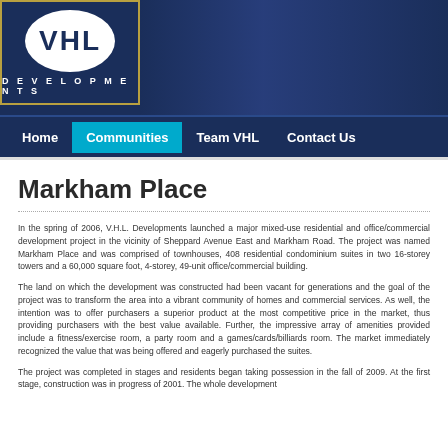[Figure (logo): VHL Developments logo with oval emblem on dark blue header background]
Home | Communities | Team VHL | Contact Us
Markham Place
In the spring of 2006, V.H.L. Developments launched a major mixed-use residential and office/commercial development project in the vicinity of Sheppard Avenue East and Markham Road. The project was named Markham Place and was comprised of townhouses, 408 residential condominium suites in two 16-storey towers and a 60,000 square foot, 4-storey, 49-unit office/commercial building.
The land on which the development was constructed had been vacant for generations and the goal of the project was to transform the area into a vibrant community of homes and commercial services. As well, the intention was to offer purchasers a superior product at the most competitive price in the market, thus providing purchasers with the best value available. Further, the impressive array of amenities provided include a fitness/exercise room, a party room and a games/cards/billiards room. The market immediately recognized the value that was being offered and eagerly purchased the suites.
The project was completed in stages and residents began taking possession in the fall of 2009. At that first stage, construction was in progress of 2001. The whole development...